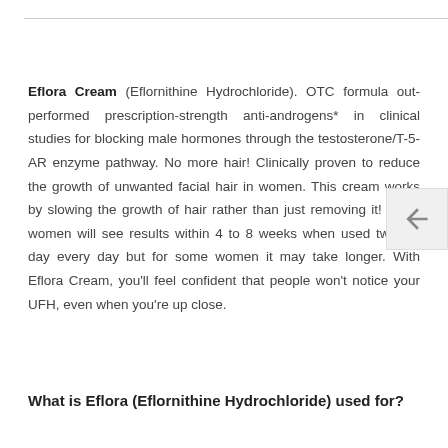Eflora Cream (Eflornithine Hydrochloride). OTC formula out-performed prescription-strength anti-androgens* in clinical studies for blocking male hormones through the testosterone/T-5-AR enzyme pathway. No more hair! Clinically proven to reduce the growth of unwanted facial hair in women. This cream works by slowing the growth of hair rather than just removing it! Many women will see results within 4 to 8 weeks when used twice a day every day but for some women it may take longer. With Eflora Cream, you'll feel confident that people won't notice your UFH, even when you're up close.
What is Eflora (Eflornithine Hydrochloride) used for?